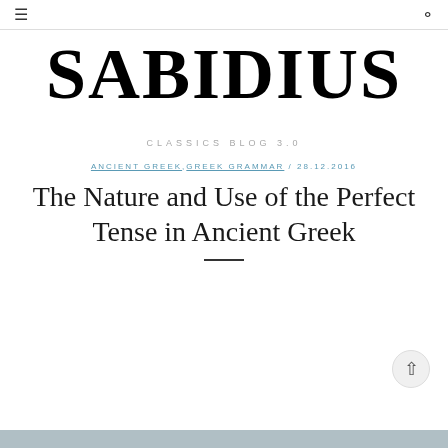≡   🔍
SABIDIUS
CLASSICS BLOG 3.0
ANCIENT GREEK , GREEK GRAMMAR / 28.12.2016
The Nature and Use of the Perfect Tense in Ancient Greek
[Figure (other): Horizontal decorative divider line]
[Figure (photo): Partial image strip at bottom of page, grayish-blue color]